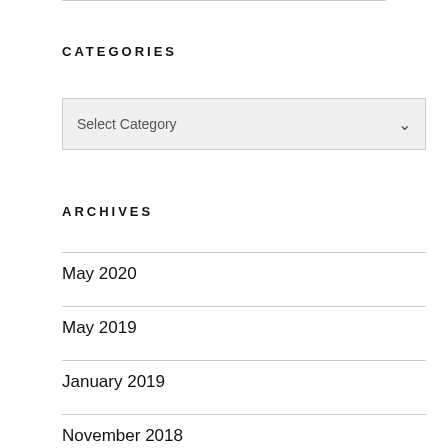CATEGORIES
[Figure (screenshot): A dropdown select box showing 'Select Category' with a chevron arrow on the right, on a light gray background with a border.]
ARCHIVES
May 2020
May 2019
January 2019
November 2018
October 2018